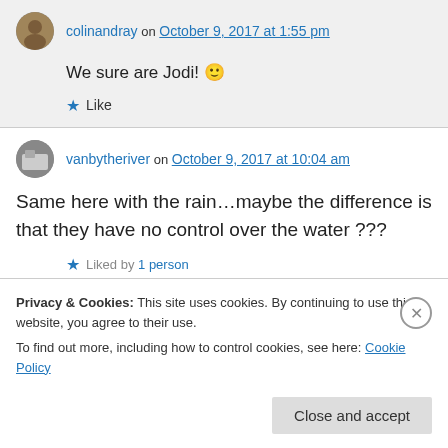colinandray on October 9, 2017 at 1:55 pm
We sure are Jodi! 🙂
★ Like
vanbytheriver on October 9, 2017 at 10:04 am
Same here with the rain…maybe the difference is that they have no control over the water ???
★ Liked by 1 person
Privacy & Cookies: This site uses cookies. By continuing to use this website, you agree to their use. To find out more, including how to control cookies, see here: Cookie Policy
Close and accept